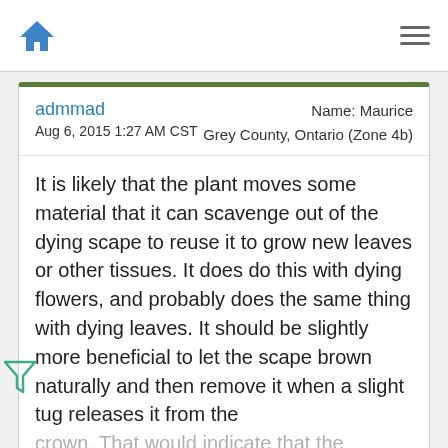Home navigation and menu
admmad
Aug 6, 2015 1:27 AM CST
Name: Maurice
Grey County, Ontario (Zone 4b)
It is likely that the plant moves some material that it can scavenge out of the dying scape to reuse it to grow new leaves or other tissues. It does do this with dying flowers, and probably does the same thing with dying leaves. It should be slightly more beneficial to let the scape brown naturally and then remove it when a slight tug releases it from the crown. That would indicate that the process of expo... been...
[Figure (screenshot): HEADERBIDDING.COM advertisement banner — Your source for all things programmatic advertising.]